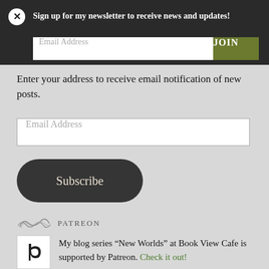Sign up for my newsletter to receive news and updates!
Email Address
JOIN
Enter your address to receive email notification of new posts.
Email Address
Subscribe
PATREON
My blog series “New Worlds” at Book View Cafe is supported by Patreon. Check it out!